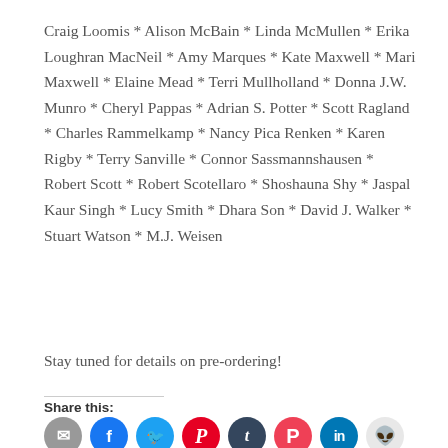Craig Loomis * Alison McBain * Linda McMullen * Erika Loughran MacNeil * Amy Marques * Kate Maxwell * Mari Maxwell * Elaine Mead * Terri Mullholland * Donna J.W. Munro * Cheryl Pappas * Adrian S. Potter * Scott Ragland * Charles Rammelkamp * Nancy Pica Renken * Karen Rigby * Terry Sanville * Connor Sassmannshausen * Robert Scott * Robert Scotellaro * Shoshauna Shy * Jaspal Kaur Singh * Lucy Smith * Dhara Son * David J. Walker * Stuart Watson * M.J. Weisen
Stay tuned for details on pre-ordering!
Share this:
[Figure (other): Social sharing icons: email, Facebook, Twitter, Pinterest, Tumblr, Pocket, LinkedIn, Reddit]